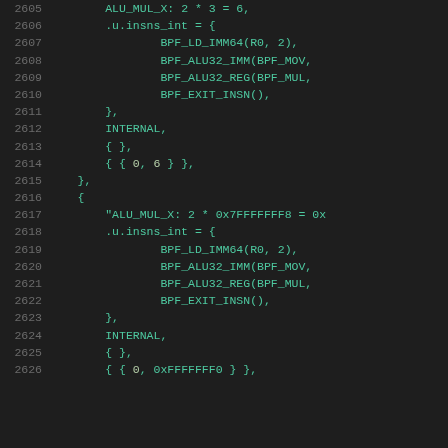Source code listing lines 2605-2626 showing BPF test case definitions in C